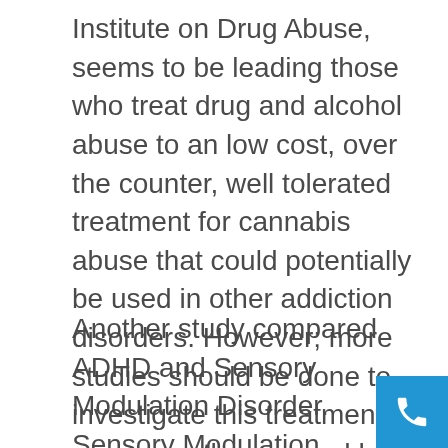Institute on Drug Abuse, seems to be leading those who treat drug and alcohol abuse to an low cost, over the counter, well tolerated treatment for cannabis abuse that could potentially be used in other addiction disorders. However; more studies should be done to investigate this treatment as a monotherapy and how it would work in combination with other treatments.
Another study compared ADHD and Sensory Modulation Disorder. Sensory Modulation Disorder (SMD) is characterized by having difficulties in detecting.